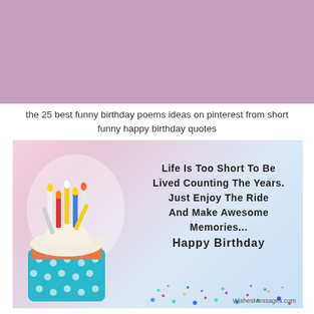[Figure (illustration): Mauve/purple-pink banner rectangle at the top of the page]
the 25 best funny birthday poems ideas on pinterest from short funny happy birthday quotes
[Figure (photo): Birthday greeting card image showing a cupcake with colorful candles in a teal polka-dot wrapper on the left, and bold text on the right reading: Life is too short to be lived counting the years. Just enjoy the ride and make awesome memories... Happy Birthday. Watermark: WishesMessages.com]